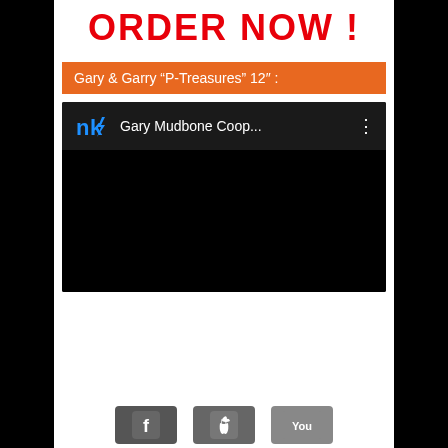ORDER NOW !
Gary & Garry “P-Treasures” 12″ :
[Figure (screenshot): Embedded video player screenshot showing NK logo and channel name 'Gary Mudbone Coop...' with a three-dot menu icon, on a dark background. The video body is black.]
[Figure (screenshot): Row of three social media / app icon buttons at the bottom: a music/streaming app icon, an Apple icon, and a YouTube icon, all on grey rounded rectangle backgrounds.]